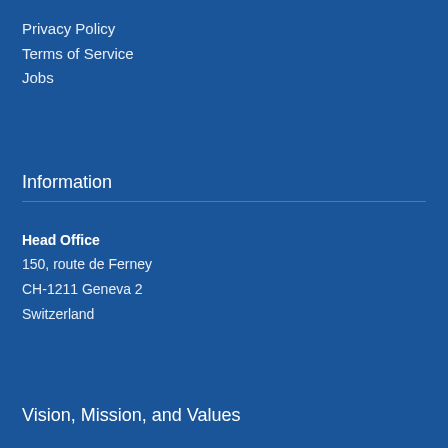Privacy Policy
Terms of Service
Jobs
Information
Head Office
150, route de Ferney
CH-1211 Geneva 2
Switzerland
Vision, Mission, and Values